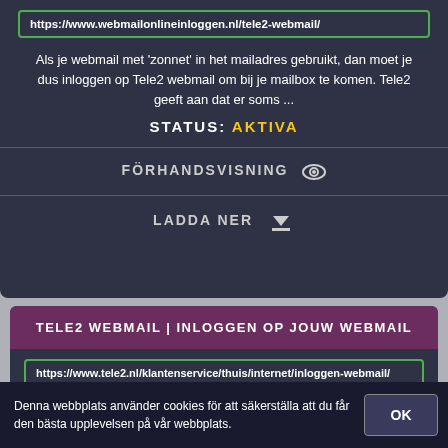https://www.webmailonlineinloggen.nl/tele2-webmail/
Als je webmail met 'zonnet' in het mailadres gebruikt, dan moet je dus inloggen op Tele2 webmail om bij je mailbox te komen. Tele2 geeft aan dat er soms ...
STATUS: AKTIVA
FÖRHANDSVISNING
LADDA NER
TELE2 WEBMAIL | INLOGGEN OP JOUW WEBMAIL
https://www.tele2.nl/klantenservice/thuis/internet/inloggen-webmail/
Log hier in om je Tele2 webmail eenvoudig te bekijken. Ook voor Zonnet webmail en Versatel webmail kun je hier inloggen.
Denna webbplats använder cookies för att säkerställa att du får den bästa upplevelsen på vår webbplats.